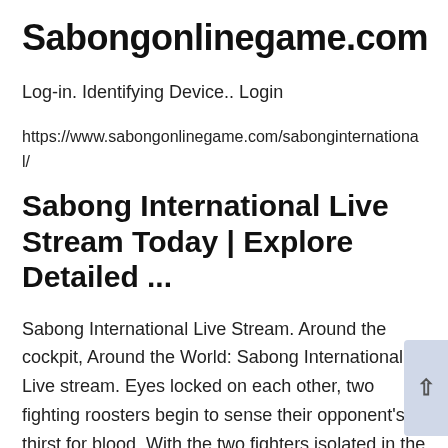Sabongonlinegame.com
Log-in. Identifying Device.. Login
https://www.sabongonlinegame.com/sabonginternational/
Sabong International Live Stream Today | Explore Detailed ...
Sabong International Live Stream. Around the cockpit, Around the World: Sabong International Live stream. Eyes locked on each other, two fighting roosters begin to sense their opponent's thirst for blood. With the two fighters isolated in the cockpit arena, and the viewers at